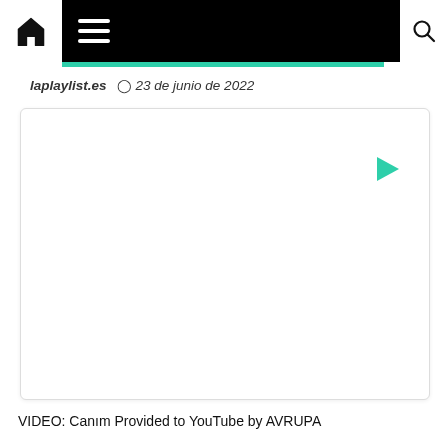laplaylist.es navigation bar with home and search icons
laplaylist.es  23 de junio de 2022
[Figure (screenshot): Embedded video player with white background and a teal play button in the upper right area]
VIDEO: Canim Provided to YouTube by AVRUPA